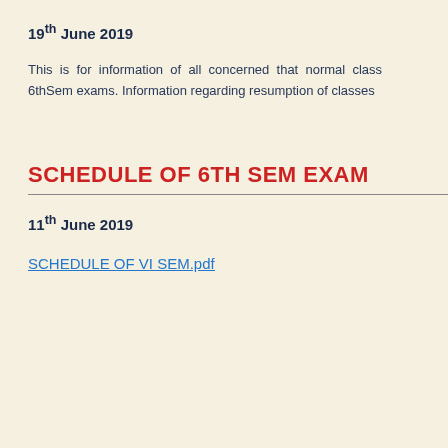19th June 2019
This is for information of all concerned that normal class 6thSem exams. Information regarding resumption of classes
SCHEDULE OF 6TH SEM EXAM
11th June 2019
SCHEDULE OF VI SEM.pdf